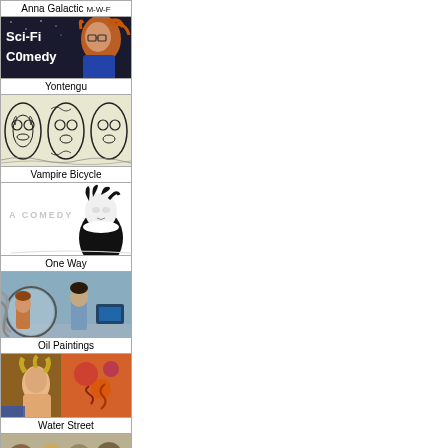[Figure (illustration): Anna Galactic comic thumbnail - sci-fi comedy with orange-haired character, text 'Sci-Fi Comedy', label 'Anna Galactic M-W-F']
[Figure (illustration): Yontengu comic thumbnail - tribal mask faces illustration]
[Figure (illustration): Vampire Bicycle comic thumbnail - black and white comedy with vampire character, text 'A COMEDY']
[Figure (illustration): One Way comic thumbnail - two characters in a spaceship/vehicle setting]
[Figure (illustration): Oil Paintings thumbnail - woman figure with colorful painting background]
[Figure (illustration): Water Street comic thumbnail - partial view of illustrated characters]